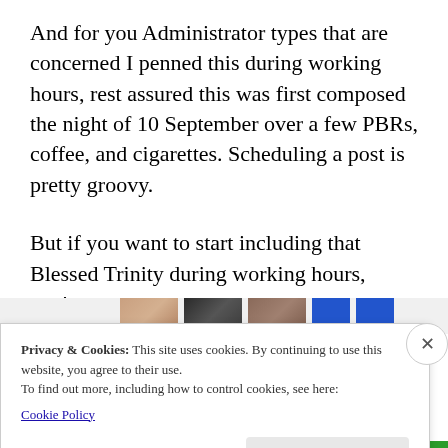And for you Administrator types that are concerned I penned this during working hours, rest assured this was first composed the night of 10 September over a few PBRs, coffee, and cigarettes. Scheduling a post is pretty groovy.
But if you want to start including that Blessed Trinity during working hours, you’ve my support.
[Figure (photo): Partial view of thumbnail images at the bottom of the article content area]
Privacy & Cookies: This site uses cookies. By continuing to use this website, you agree to their use.
To find out more, including how to control cookies, see here:
Cookie Policy